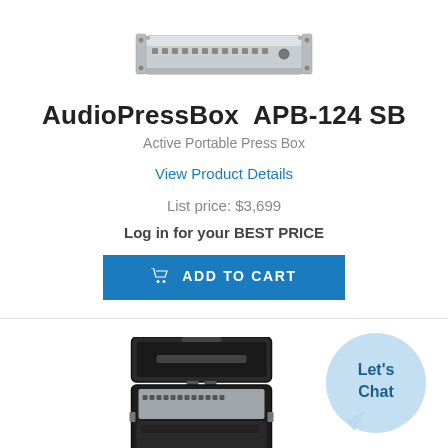[Figure (photo): Product photo of AudioPressBox APB-124 SB, a silver rack-mounted press box unit]
AudioPressBox  APB-124 SB
Active Portable Press Box
View Product Details
List price: $3,699
Log in for your BEST PRICE
ADD TO CART
[Figure (photo): Photo of a black hard-shell carrying case open, containing the AudioPressBox APB-124 SB unit with multiple XLR connectors]
Let's Chat